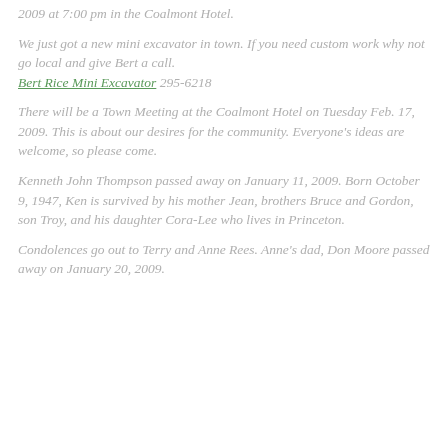2009 at 7:00 pm in the Coalmont Hotel.
We just got a new mini excavator in town. If you need custom work why not go local and give Bert a call. Bert Rice Mini Excavator 295-6218
There will be a Town Meeting at the Coalmont Hotel on Tuesday Feb. 17, 2009. This is about our desires for the community. Everyone's ideas are welcome, so please come.
Kenneth John Thompson passed away on January 11, 2009. Born October 9, 1947, Ken is survived by his mother Jean, brothers Bruce and Gordon, son Troy, and his daughter Cora-Lee who lives in Princeton.
Condolences go out to Terry and Anne Rees. Anne's dad, Don Moore passed away on January 20, 2009.